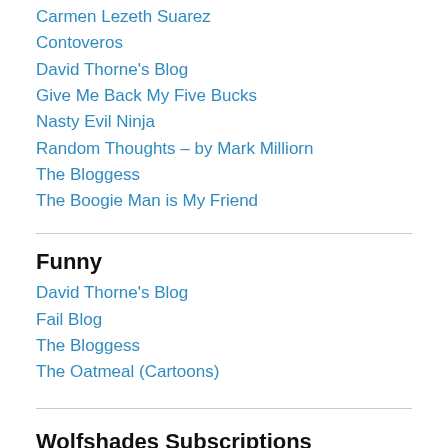Carmen Lezeth Suarez
Contoveros
David Thorne's Blog
Give Me Back My Five Bucks
Nasty Evil Ninja
Random Thoughts – by Mark Milliorn
The Bloggess
The Boogie Man is My Friend
Funny
David Thorne's Blog
Fail Blog
The Bloggess
The Oatmeal (Cartoons)
Wolfshades Subscriptions
Enter your email address to follow this blog and receive notifications f…